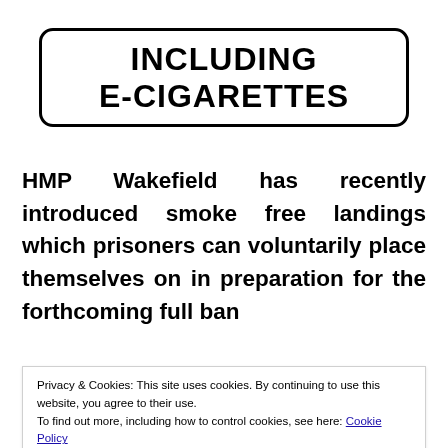[Figure (illustration): A no-smoking sign in a rounded rectangle border with bold uppercase text reading 'INCLUDING E-CIGARETTES']
HMP Wakefield has recently introduced smoke free landings which prisoners can voluntarily place themselves on in preparation for the forthcoming full ban
Privacy & Cookies: This site uses cookies. By continuing to use this website, you agree to their use.
To find out more, including how to control cookies, see here: Cookie Policy
people on both sides of the debate in